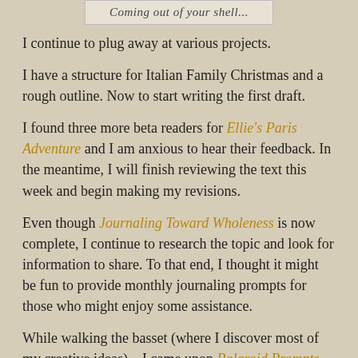[Figure (other): Box with italic text reading 'Coming out of your shell...']
I continue to plug away at various projects.
I have a structure for Italian Family Christmas and a rough outline. Now to start writing the first draft.
I found three more beta readers for Ellie's Paris Adventure and I am anxious to hear their feedback. In the meantime, I will finish reviewing the text this week and begin making my revisions.
Even though Journaling Toward Wholeness is now complete, I continue to research the topic and look for information to share. To that end, I thought it might be fun to provide monthly journaling prompts for those who might enjoy some assistance.
While walking the basset (where I discover most of my creative ideas)... I came upon Polaroid Prompts. In essence, a means to combine my love of photography and my passion for journaling in a unique way.